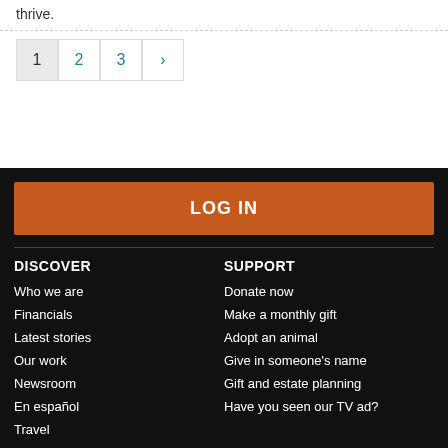thrive.
1
2
3
›
LOG IN
DISCOVER
SUPPORT
Who we are
Donate now
Financials
Make a monthly gift
Latest stories
Adopt an animal
Our work
Give in someone's name
Newsroom
Gift and estate planning
En español
Have you seen our TV ad?
Travel